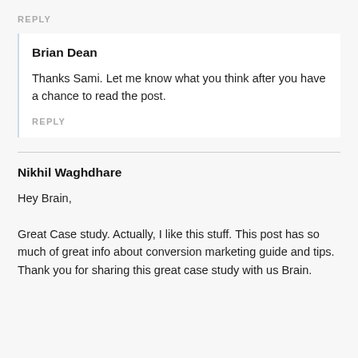REPLY
Brian Dean
Thanks Sami. Let me know what you think after you have a chance to read the post.
REPLY
Nikhil Waghdhare
Hey Brain,

Great Case study. Actually, I like this stuff. This post has so much of great info about conversion marketing guide and tips.
Thank you for sharing this great case study with us Brain.